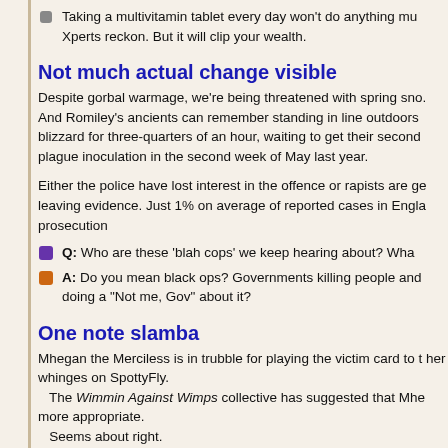Taking a multivitamin tablet every day won't do anything much, Xperts reckon. But it will clip your wealth.
Not much actual change visible
Despite gorbal warmage, we're being threatened with spring sno. And Romiley's ancients can remember standing in line outdoors in a blizzard for three-quarters of an hour, waiting to get their second plague inoculation in the second week of May last year.
Either the police have lost interest in the offence or rapists are ge leaving evidence. Just 1% on average of reported cases in Engla prosecution
Q: Who are these 'blah cops' we keep hearing about? Wha A: Do you mean black ops? Governments killing people and doing a "Not me, Gov" about it?
One note slamba
Mhegan the Merciless is in trubble for playing the victim card to t her whinges on SpottyFly.
   The Wimmin Against Wimps collective has suggested that Mhe more appropriate.
   Seems about right.
Jam Tomorrow Snack
The Chancellor claims he wants his customers to keep more of t Unfortunately for them, he wants them to keep it in his Brown Ho